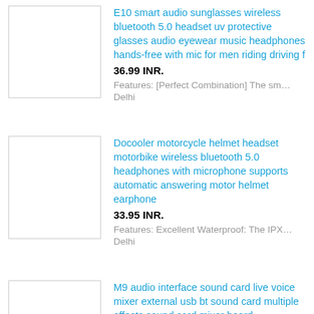[Figure (photo): Product image placeholder - white rectangle with border]
E10 smart audio sunglasses wireless bluetooth 5.0 headset uv protective glasses audio eyewear music headphones hands-free with mic for men riding driving f
36.99 INR.
Features: [Perfect Combination] The sm…
Delhi
[Figure (photo): Product image placeholder - white rectangle with border]
Docooler motorcycle helmet headset motorbike wireless bluetooth 5.0 headphones with microphone supports automatic answering motor helmet earphone
33.95 INR.
Features: Excellent Waterproof: The IPX…
Delhi
[Figure (photo): Product image placeholder - white rectangle with border]
M9 audio interface sound card live voice mixer external usb bt sound card multiple effects sound card mixer board